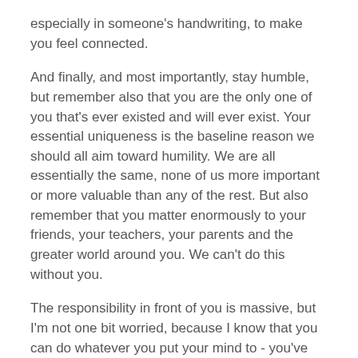especially in someone's handwriting, to make you feel connected.
And finally, and most importantly, stay humble, but remember also that you are the only one of you that's ever existed and will ever exist. Your essential uniqueness is the baseline reason we should all aim toward humility. We are all essentially the same, none of us more important or more valuable than any of the rest. But also remember that you matter enormously to your friends, your teachers, your parents and the greater world around you. We can't do this without you.
The responsibility in front of you is massive, but I'm not one bit worried, because I know that you can do whatever you put your mind to - you've shown that again and again and again. We are all so proud of you.
Your time is now.